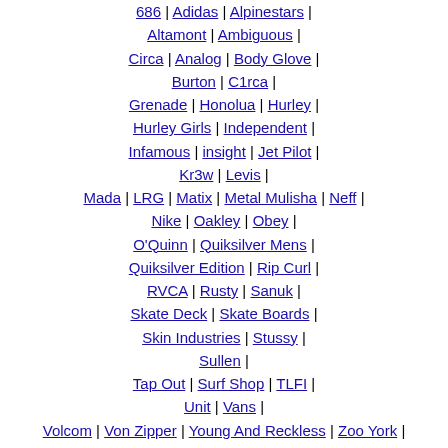686 | Adidas | Alpinestars | Altamont | Ambiguous | Circa | Analog | Body Glove | Burton | C1rca | Grenade | Honolua | Hurley | Hurley Girls | Independent | Infamous | insight | Jet Pilot | Kr3w | Levis | Mada | LRG | Matix | Metal Mulisha | Neff | Nike | Oakley | Obey | O'Quinn | Quiksilver Mens | Quiksilver Edition | Rip Curl | RVCA | Rusty | Sanuk | Skate Deck | Skate Boards | Skin Industries | Stussy | Sullen | Tap Out | Surf Shop | TLFI | Unit | Vans | Volcom | Von Zipper | Young And Reckless | Zoo York | Krew |
Board Shorts
Boardshorts